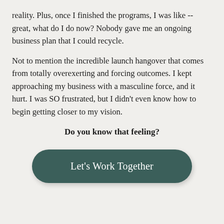reality. Plus, once I finished the programs, I was like -- great, what do I do now? Nobody gave me an ongoing business plan that I could recycle.
Not to mention the incredible launch hangover that comes from totally overexerting and forcing outcomes. I kept approaching my business with a masculine force, and it hurt. I was SO frustrated, but I didn’t even know how to begin getting closer to my vision.
Do you know that feeling?
Let's Work Together